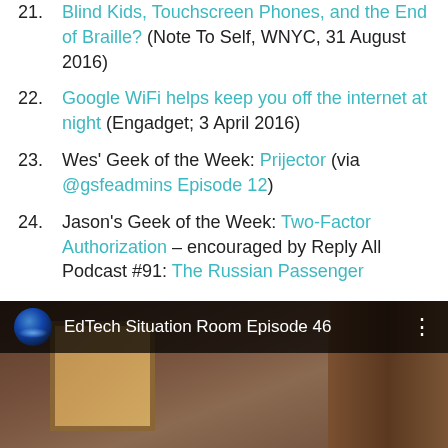21. Blind Kids, Touchscreen Phones, and the End of Braille? (Note To Self, WNYC, 31 August 2016)
22. Google WiFi helps keep you off the internet at night (Engadget; 3 April 2016)
23. Wes' Geek of the Week: Prijector (via @gsfeadmins Episode 12)
24. Jason's Geek of the Week: Two-Factor Authorization – encouraged by Reply All Podcast #91: The Russian Passenger
[Figure (screenshot): Video thumbnail showing 'EdTech Situation Room Episode 46' with a dark overlay bar at top containing a circular avatar with blue glow, the title in white text, and a three-dot menu icon. Background shows a bookshelf and room scene.]